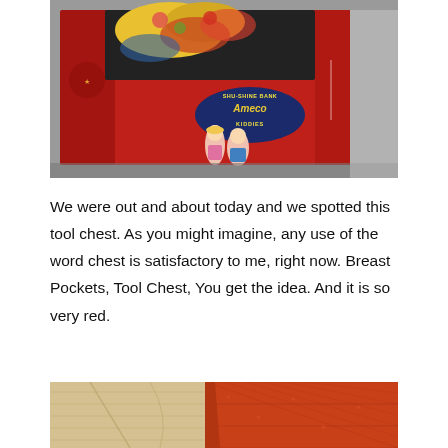[Figure (photo): A red vintage tin tool chest labeled 'Shu-Shine Bank Ameco for Kiddies' with illustrated children on the side and colorful fabric/contents visible inside the open top.]
We were out and about today and we spotted this tool chest. As you might imagine, any use of the word chest is satisfactory to me, right now. Breast Pockets, Tool Chest, You get the idea. And it is so very red.
[Figure (photo): Close-up view of a red patterned fabric or quilt with a textured surface, laid on a light beige background.]